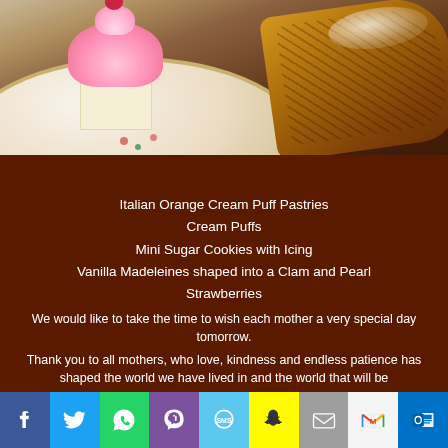[Figure (photo): Close-up photo of pastries on a floral-decorated plate: a pink-frosted cupcake and a flaky croissant dusted with powdered sugar]
Italian Orange Cream Puff Pastries
Cream Puffs
Mini Sugar Cookies with Icing
Vanilla Madeleines shaped into a Clam and Pearl
Strawberries
We would like to take the time to wish each mother a very special day tomorrow.
Thank you to all mothers, who love, kindness and endless patience has shaped the world we have lived in and the world that will be
[Figure (infographic): Social media sharing bar with icons for Facebook, Twitter, WhatsApp, Viber, SMS, Snapchat, Mail, Gmail, and Outlook]